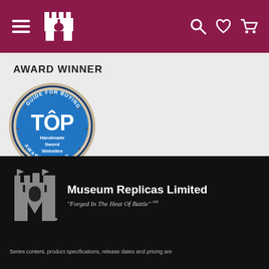Museum Replicas Limited — navigation header with hamburger menu, logo, search, wishlist, and cart icons
AWARD WINNER
[Figure (illustration): Blue circular badge/seal reading 'GUIDE FOR BUYING TOP Handmade Sword Websites AWARD WINNER']
[Figure (logo): Museum Replicas Limited logo with grey castle/tower icon and text 'Museum Replicas Limited' and tagline 'Forged In The Heat Of Battle' SM on dark background]
Series content, product specifications, release dates and pricing are